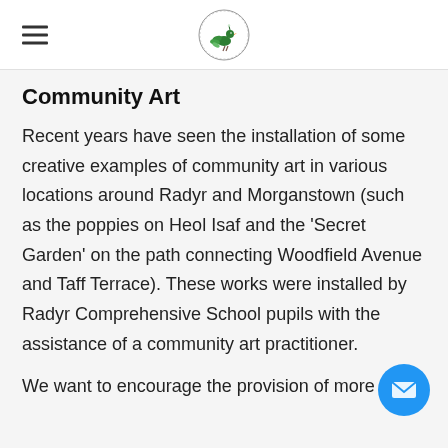[Logo: Radyr and Morganstown community organization bird logo]
Community Art
Recent years have seen the installation of some creative examples of community art in various locations around Radyr and Morganstown (such as the poppies on Heol Isaf and the 'Secret Garden' on the path connecting Woodfield Avenue and Taff Terrace). These works were installed by Radyr Comprehensive School pupils with the assistance of a community art practitioner.
We want to encourage the provision of more